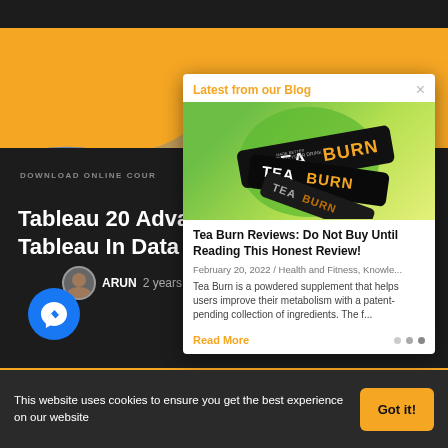[Figure (screenshot): Website screenshot showing a Tableau course page with area chart background on yellow/orange, overlaid by a blog popup for Tea Burn supplement review, and a cookie consent banner at the bottom.]
Latest from our Blog
[Figure (photo): Product photo of Tea Burn supplement packets (black packaging) on a green circle background]
Tea Burn Reviews: Do Not Buy Until Reading This Honest Review!
February 20, 2022 / Health and Fitness, Knowle...
Tea Burn is a powdered supplement that helps users improve their metabolism with a patent-pending collection of ingredients. The f...
Read More
DOWNLOAD ONLINE COUR
Tableau 20 Adva
Tableau In Data
ARUN 2 years ago
This website uses cookies to ensure you get the best experience on our website